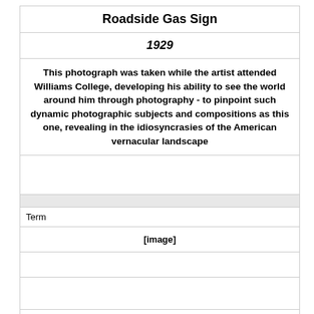Roadside Gas Sign
1929
This photograph was taken while the artist attended Williams College, developing his ability to see the world around him through photography - to pinpoint such dynamic photographic subjects and compositions as this one, revealing in the idiosyncrasies of the American vernacular landscape
Term
[Figure (other): [image]]